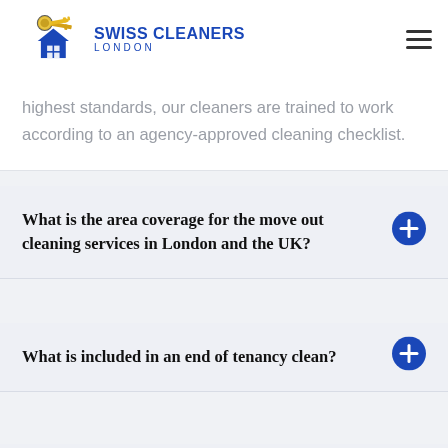Swiss Cleaners London
highest standards, our cleaners are trained to work according to an agency-approved cleaning checklist.
What is the area coverage for the move out cleaning services in London and the UK?
What is included in an end of tenancy clean?